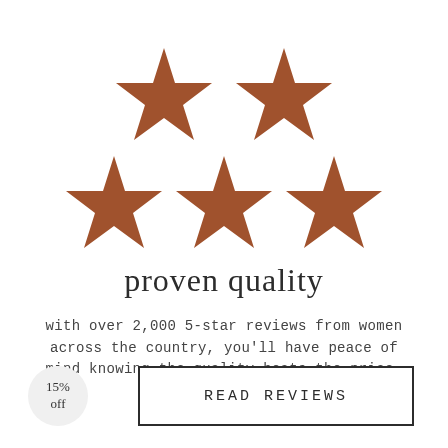[Figure (illustration): Five brown/rust-colored stars arranged in two rows: two stars on top row, three stars on bottom row, forming a 5-star rating display]
proven quality
with over 2,000 5-star reviews from women across the country, you'll have peace of mind knowing the quality beats the price.
15% off
READ REVIEWS